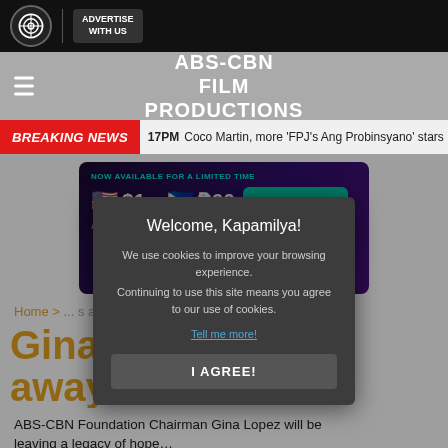ABS-CBN FILM PRODUCTIONS
BREAKING NEWS  17PM  Coco Martin, more 'FPJ's Ang Probinsyano' stars mar...
[Figure (infographic): Ad banner showing currency exchange rate: $1 = ₱60, with CLAIM OFFER button]
Home > ... s away...
Gina ... es away...
[Figure (screenshot): Cookie consent modal: 'Welcome, Kapamilya! We use cookies to improve your browsing experience. Continuing to use this site means you agree to our use of cookies. Tell me more! I AGREE!']
ABS-CBN Foundation Chairman Gina Lopez will be leaving a legacy of hope...